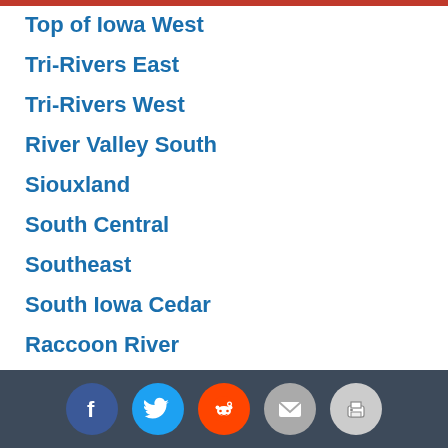Top of Iowa West
Tri-Rivers East
Tri-Rivers West
River Valley South
Siouxland
South Central
Southeast
South Iowa Cedar
Raccoon River
River Valley North
Rolling Valley
SEISC North
SEISC South